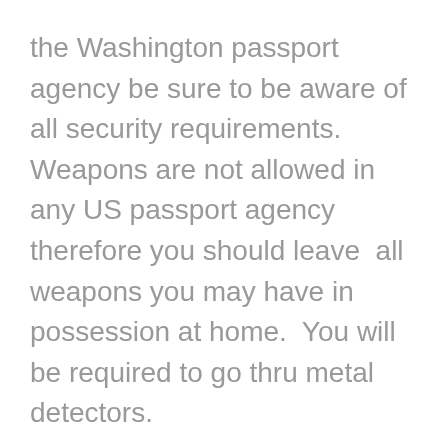the Washington passport agency be sure to be aware of all security requirements. Weapons are not allowed in any US passport agency therefore you should leave all weapons you may have in possession at home. You will be required to go thru metal detectors.
Be sure to have your confirmation number handy, with all the completed forms that will be necessary. Bring all supporting documents for your passport, as well as all necessary payments for expediting and